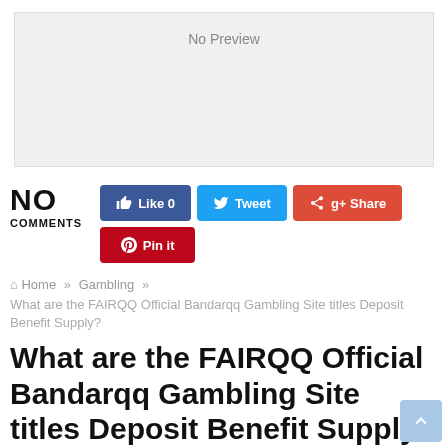[Figure (other): No Preview placeholder image box with light gray background]
NO COMMENTS
[Figure (other): Social sharing buttons: Like 0, Tweet, Share, Pin it]
Home » Gambling »
What are the FAIRQQ Official Bandarqq Gambling Site titles Deposit Benefit Supply?
What are the FAIRQQ Official Bandarqq Gambling Site titles Deposit Benefit Supply?